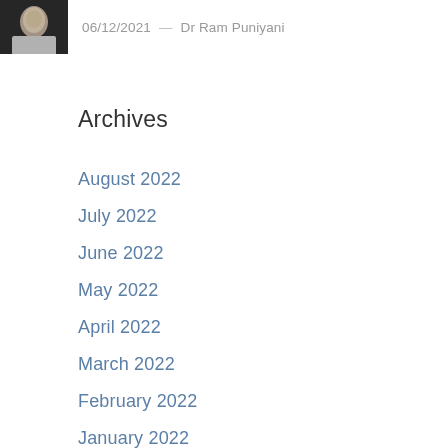[Figure (photo): Small circular/rectangular avatar photo of a person in grey attire]
06/12/2021  —  Dr Ram Puniyani
Archives
August 2022
July 2022
June 2022
May 2022
April 2022
March 2022
February 2022
January 2022
December 2021
November 2021